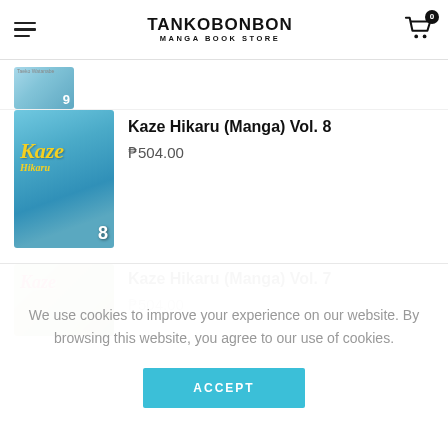TANKOBONBON MANGA BOOK STORE
[Figure (screenshot): Partial manga book cover for Kaze Hikaru Vol. 9, showing top portion cut off]
Kaze Hikaru (Manga) Vol. 8
₱504.00
[Figure (screenshot): Manga book cover for Kaze Hikaru Vol. 8, blue cover with two characters and yellow Kaze logo]
Kaze Hikaru (Manga) Vol. 7
₱504.00
[Figure (screenshot): Partial manga book cover for Kaze Hikaru Vol. 7, green cover with pink Kaze logo, partially visible]
We use cookies to improve your experience on our website. By browsing this website, you agree to our use of cookies.
ACCEPT